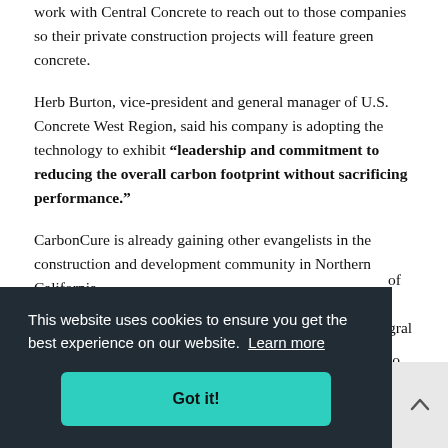work with Central Concrete to reach out to those companies so their private construction projects will feature green concrete.
Herb Burton, vice-president and general manager of U.S. Concrete West Region, said his company is adopting the technology to exhibit “leadership and commitment to reducing the overall carbon footprint without sacrificing performance.”
CarbonCure is already gaining other evangelists in the construction and development community in Northern California.
(partial text behind cookie banner) ...of ...gral to ...e.
[Figure (screenshot): Cookie consent banner with dark background (#222c35), text 'This website uses cookies to ensure you get the best experience on our website. Learn more', and a teal 'Got it!' button. A scroll-to-top button is visible at the bottom right.]